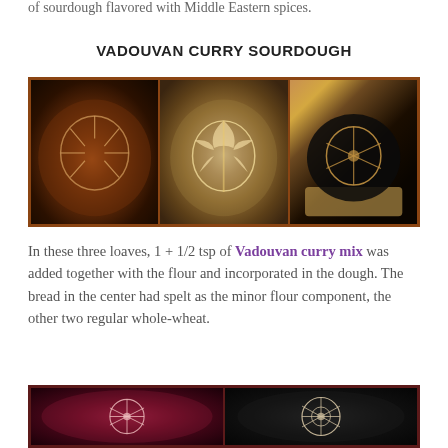of sourdough flavored with Middle Eastern spices.
VADOUVAN CURRY SOURDOUGH
[Figure (photo): Three sourdough loaves with decorative scoring patterns: left loaf is dark brown with leaf-like score marks on a cooling rack, center loaf is lighter with elaborate leaf scoring on a wooden surface, right loaf is very dark (possibly charcoal) with geometric scoring on a woven basket.]
In these three loaves, 1 + 1/2 tsp of Vadouvan curry mix was added together with the flour and incorporated in the dough. The bread in the center had spelt as the minor flour component, the other two regular whole-wheat.
[Figure (photo): Two bread loaves partially visible: left shows a reddish-purple colored bread (possibly beet) with elaborate floral/geometric scoring, right shows a very dark (charcoal) bread with floral scoring pattern.]